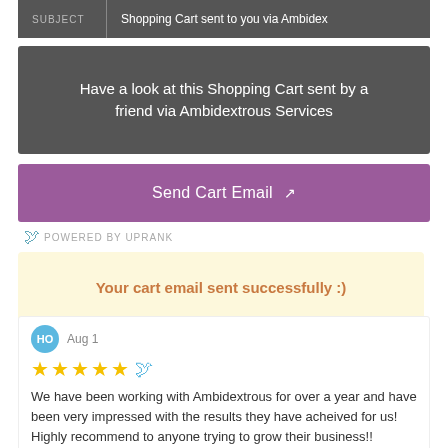| SUBJECT | Shopping Cart sent to you via Ambidex |
| --- | --- |
Have a look at this Shopping Cart sent by a friend via Ambidextrous Services
Send Cart Email
POWERED BY UPRANK
Your cart email sent successfully :)
Aug 1
We have been working with Ambidextrous for over a year and have been very impressed with the results they have acheived for us! Highly recommend to anyone trying to grow their business!!